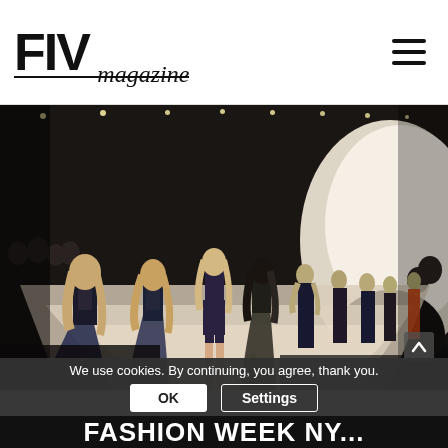FIV magazine
[Figure (photo): Fashion runway photo showing a line of female models walking away from the camera in various outfits including navy gowns, dark dresses, and shorts, with bright runway lighting and seated audience on both sides.]
We use cookies. By continuing, you agree, thank you.
OK
Settings
FASHION WEEK NY...